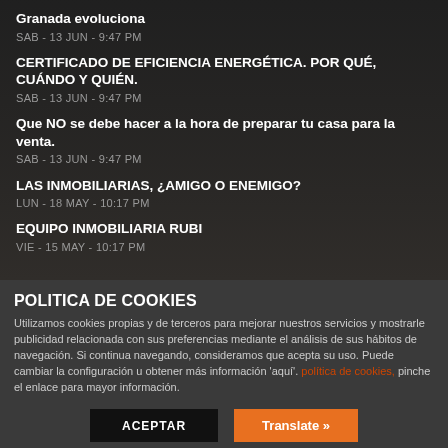Granada evoluciona
SAB - 13 JUN - 9:47 PM
CERTIFICADO DE EFICIENCIA ENERGÉTICA. POR QUÉ, CUÁNDO Y QUIÉN.
SAB - 13 JUN - 9:47 PM
Que NO se debe hacer a la hora de preparar tu casa para la venta.
SAB - 13 JUN - 9:47 PM
LAS INMOBILIARIAS, ¿AMIGO O ENEMIGO?
LUN - 18 MAY - 10:17 PM
EQUIPO INMOBILIARIA RUBI
VIE - 15 MAY - 10:17 PM
POLITICA DE COOKIES
Utilizamos cookies propias y de terceros para mejorar nuestros servicios y mostrarle publicidad relacionada con sus preferencias mediante el análisis de sus hábitos de navegación. Si continua navegando, consideramos que acepta su uso. Puede cambiar la configuración u obtener más información 'aquí'. política de cookies, pinche el enlace para mayor información.